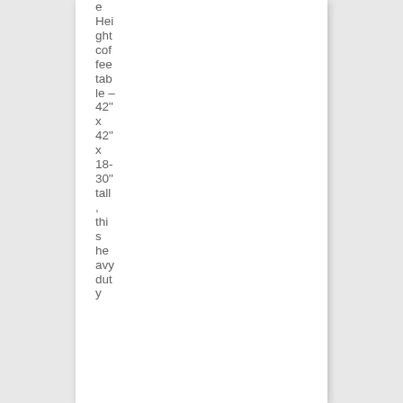e Height coffee table – 42" x 42" x 18-30" tall , this heavy duty